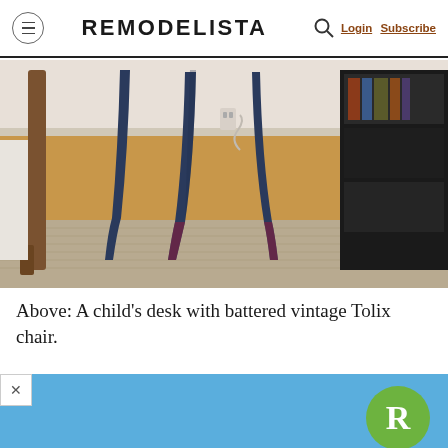REMODELISTA  Login Subscribe
[Figure (photo): Close-up photo of chair legs (Tolix style, dark blue/black metal) on a wooden floor with a beige sisal rug, next to a small dark bookshelf]
Above: A child’s desk with battered vintage Tolix chair.
[Figure (other): Advertisement banner with blue background, close button (X), and Remodelista green circular logo badge with white R]